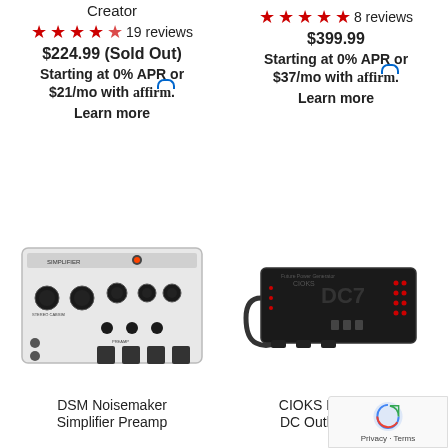Creator
★★★★½ 19 reviews
$224.99 (Sold Out)
Starting at 0% APR or $21/mo with affirm.
Learn more
★★★★★ 8 reviews
$399.99
Starting at 0% APR or $37/mo with affirm.
Learn more
[Figure (photo): DSM Noisemaker Simplifier Preamp pedal, white desktop unit with multiple knobs and jacks]
[Figure (photo): CIOKS DC7 - 7 Isolated DC Outlets Power supply, black rectangular unit with LED indicators]
DSM Noisemaker Simplifier Preamp
CIOKS DC7- 7 Iso DC Outlets Power